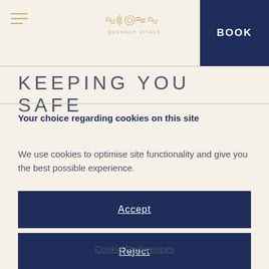BOOK
KEEPING YOU SAFE
Your choice regarding cookies on this site
We use cookies to optimise site functionality and give you the best possible experience.
Accept
Reject
Cookie Preferences